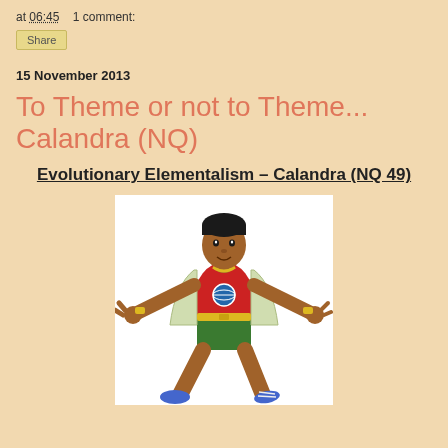at 06:45    1 comment:
Share
15 November 2013
To Theme or not to Theme... Calandra (NQ)
Evolutionary Elementalism – Calandra (NQ 49)
[Figure (illustration): Cartoon character of a young man in a red shirt with a globe logo, green shorts, white jacket open, yellow wristbands and necklace, blue sneakers, in a dynamic spread-armed pose.]